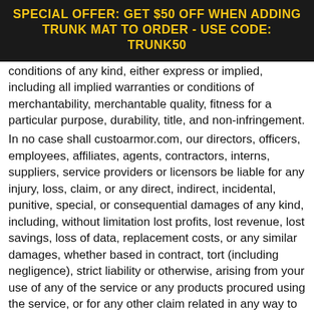SPECIAL OFFER: GET $50 OFF WHEN ADDING TRUNK MAT TO ORDER - USE CODE: TRUNK50
conditions of any kind, either express or implied, including all implied warranties or conditions of merchantability, merchantable quality, fitness for a particular purpose, durability, title, and non-infringement.
In no case shall custoarmor.com, our directors, officers, employees, affiliates, agents, contractors, interns, suppliers, service providers or licensors be liable for any injury, loss, claim, or any direct, indirect, incidental, punitive, special, or consequential damages of any kind, including, without limitation lost profits, lost revenue, lost savings, loss of data, replacement costs, or any similar damages, whether based in contract, tort (including negligence), strict liability or otherwise, arising from your use of any of the service or any products procured using the service, or for any other claim related in any way to your use of the service or any product, including, but not limited to, any errors or omissions in any content, or any loss or damage of any kind incurred as a result of the use of the service or any content (or product) posted, transmitted, or otherwise made available via the